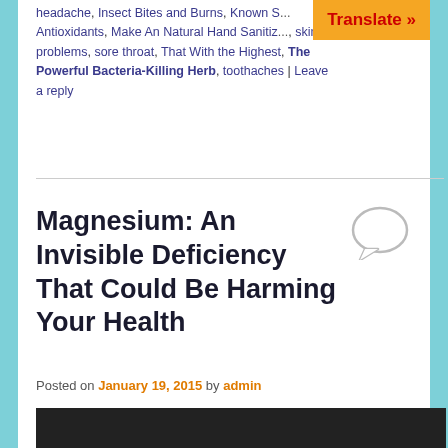headache, Insect Bites and Burns, Known S... Antioxidants, Make An Natural Hand Sanitiz..., skin problems, sore throat, That With the Highest, The Powerful Bacteria-Killing Herb, toothaches | Leave a reply
Magnesium: An Invisible Deficiency That Could Be Harming Your Health
Posted on January 19, 2015 by admin
[Figure (screenshot): Dark video embed box with warning icon and text: This video is age-restricted and only available on YouTube. Learn more]